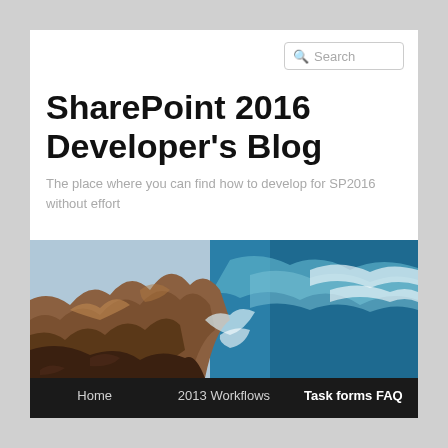SharePoint 2016 Developer's Blog
The place where you can find how to develop for SP2016 without effort
[Figure (photo): Coastal cliffs and ocean waves crashing against rocky shoreline]
Home
2013 Workflows
Task forms FAQ
BCS
Administration
About me
Hire me